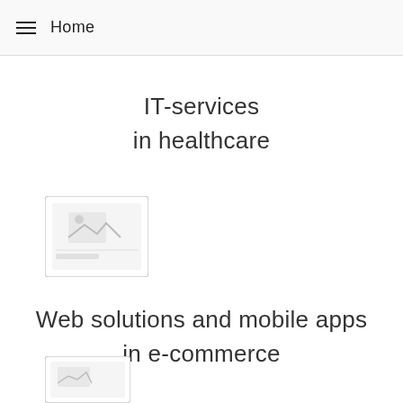Home
IT-services
in healthcare
[Figure (illustration): Placeholder image thumbnail with broken image icon]
Web solutions and mobile apps
in e-commerce
[Figure (illustration): Partial placeholder image thumbnail at bottom of page]